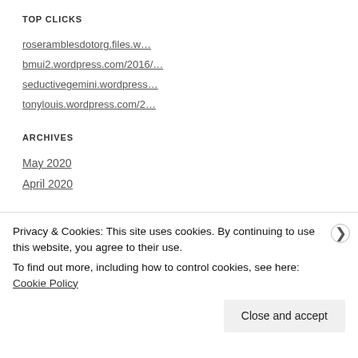TOP CLICKS
roseramblesdotorg.files.w...
bmui2.wordpress.com/2016/...
seductivegemini.wordpress...
tonylouis.wordpress.com/2...
ARCHIVES
May 2020
April 2020
Privacy & Cookies: This site uses cookies. By continuing to use this website, you agree to their use.
To find out more, including how to control cookies, see here: Cookie Policy
Close and accept